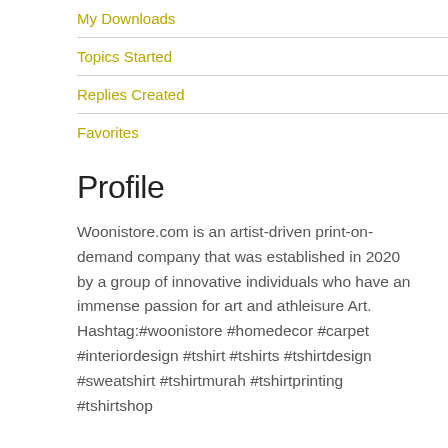My Downloads
Topics Started
Replies Created
Favorites
Profile
Woonistore.com is an artist-driven print-on-demand company that was established in 2020 by a group of innovative individuals who have an immense passion for art and athleisure Art. Hashtag:#woonistore #homedecor #carpet #interiordesign #tshirt #tshirts #tshirtdesign #sweatshirt #tshirtmurah #tshirtprinting #tshirtshop